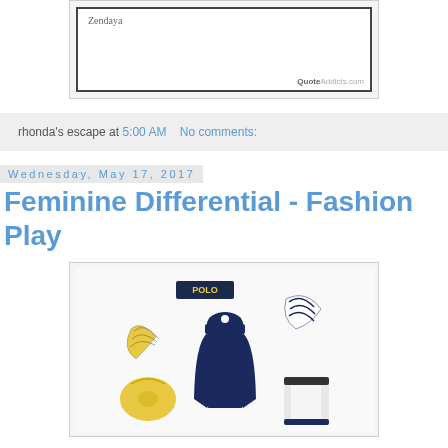[Figure (photo): Quote image with 'Zendaya' text and QuoteAddicts.com watermark, bordered box on light gray background]
rhonda's escape at 5:00 AM   No comments:
Wednesday, May 17, 2017
Feminine Differential - Fashion Play
[Figure (photo): Fashion collage showing a navy blue Polo Ralph Lauren dress, yellow patterned scarf, yellow handbag, navy/white striped scarf, and a clear/black boot or vase]